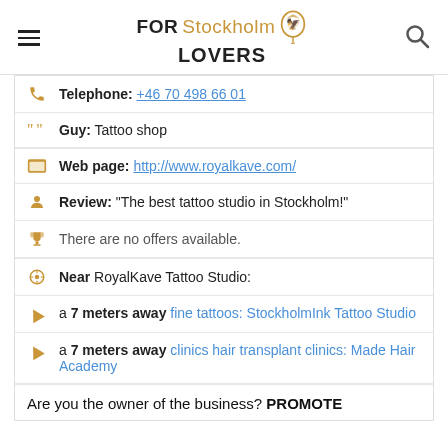FOR Stockholm LOVERS
Telephone: +46 70 498 66 01
Guy: Tattoo shop
Web page: http://www.royalkave.com/
Review: "The best tattoo studio in Stockholm!"
There are no offers available.
Near RoyalKave Tattoo Studio:
a 7 meters away fine tattoos: StockholmInk Tattoo Studio
a 7 meters away clinics hair transplant clinics: Made Hair Academy
Are you the owner of the business? PROMOTE